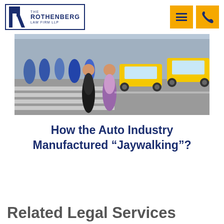[Figure (logo): The Rothenberg Law Firm LLP logo with large R letter and firm name text in navy blue border box]
[Figure (photo): Street scene showing two women crossing a busy city street/crosswalk with yellow taxi cabs in background]
How the Auto Industry Manufactured “Jaywalking”?
Related Legal Services